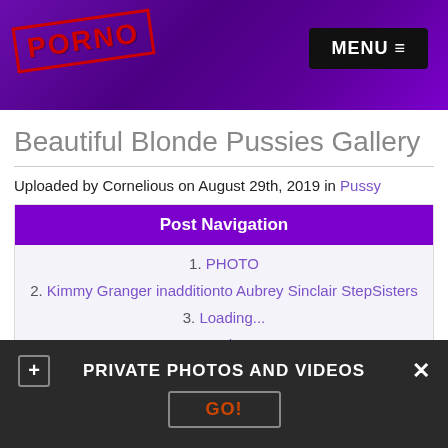PORNO | MENU
Beautiful Blonde Pussies Gallery
Uploaded by Cornelious on August 29th, 2019 in Pussy
Post Navigation
1. PHOTO
2. Kimmy Granger inadditionto Aubrey Sinclair StepSisters
3. Loading...
4. +5 photos
5. Comments (5)
PRIVATE PHOTOS AND VIDEOS  GO!